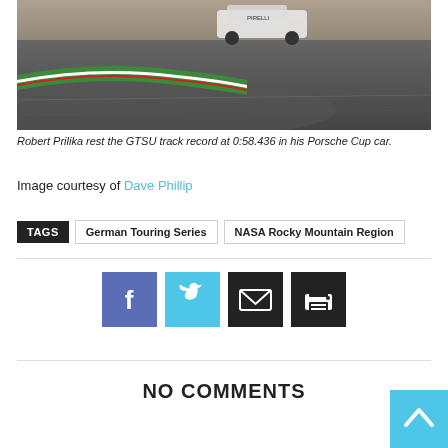[Figure (photo): Racing car on track with green and white curbing, shot from low angle showing asphalt track surface]
Robert Prilika rest the GTSU track record at 0:58.436 in his Porsche Cup car.
Image courtesy of Dave Phillip
TAGS  German Touring Series  NASA Rocky Mountain Region
[Figure (infographic): Social sharing buttons: Facebook (blue), Twitter (cyan), Email (black), Print (black)]
NO COMMENTS